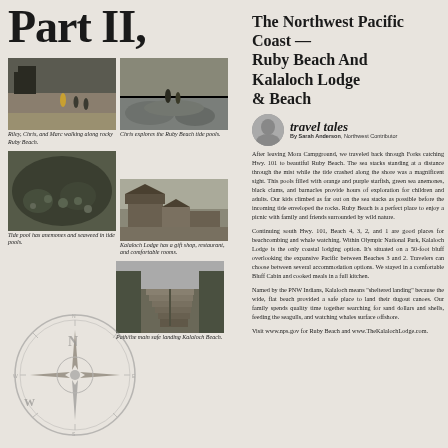Part II,
[Figure (photo): Riley, Chris, and Marc walking along rocky Ruby Beach with sea stacks visible in the background.]
Riley, Chris, and Marc walking along rocky Ruby Beach.
[Figure (photo): Chris explores the Ruby Beach tide pools with rocks and water visible.]
Chris explores the Ruby Beach tide pools.
[Figure (photo): Close-up of tide pool with anemones and seaweed.]
Tide pool has anemones and seaweed in tide pools.
[Figure (photo): Kalaloch Lodge building with trees in background.]
Kalaloch Lodge has a gift shop, restaurant, and comfortable rooms.
[Figure (photo): Steps/path leading down to Kalaloch Beach.]
Path/the main safe landing Kalaloch Beach.
[Figure (illustration): Decorative compass rose illustration with N, S, E, W directions.]
The Northwest Pacific Coast — Ruby Beach And Kalaloch Lodge & Beach
travel tales By Sarah Anderson, Northwest Contributor
After leaving Mora Campground, we traveled back through Forks catching Hwy. 101 to beautiful Ruby Beach. The sea stacks standing at a distance through the mist while the tide crashed along the shore was a magnificent sight. This pools filled with orange and purple starfish, green sea anemones, black clams, and barnacles provide hours of exploration for children and adults. Our kids climbed as far out on the sea stacks as possible before the incoming tide enveloped the rocks. Ruby Beach is a perfect place to enjoy a picnic with family and friends surrounded by wild nature.
Continuing south Hwy. 101, Beach 4, 3, 2, and 1 are good places for beachcombing and whale watching. Within Olympic National Park, Kalaloch Lodge is the only coastal lodging option. It's situated on a 50-foot bluff overlooking the expansive Pacific between Beaches 3 and 2. Travelers can choose between several accommodation options. We stayed in a comfortable Bluff Cabin and cooked meals in a full kitchen.
Named by the PNW Indians, Kalaloch means "sheltered landing" because the wide, flat beach provided a safe place to land their dugout canoes. Our family spends quality time together searching for sand dollars and shells, feeding the seagulls, and watching whales surface offshore.
Visit www.nps.gov for Ruby Beach and www.TheKalalochLodge.com.